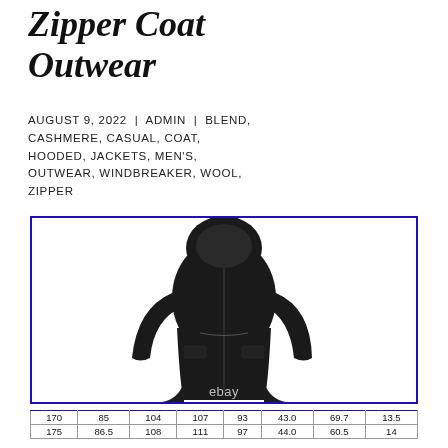Zipper Coat Outwear
AUGUST 9, 2022 | ADMIN | BLEND, CASHMERE, CASUAL, COAT, HOODED, JACKETS, MEN'S, OUTWEAR, WINDBREAKER, WOOL, ZIPPER
[Figure (photo): Black hooded zipper coat/outwear on a model, with eBay watermark. Product photo with blue border.]
| 170 | 85 | 104 | 107 | 93 | 43.0 | 69.7 | 13.5 |
| 175 | 86.5 | 108 | 111 | 97 | 44.0 | 60.5 | 14 |